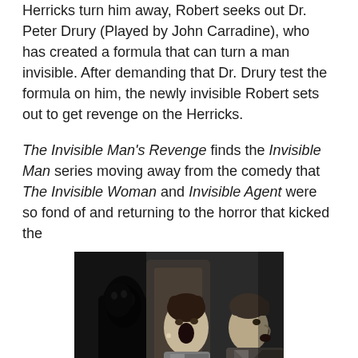Herricks turn him away, Robert seeks out Dr. Peter Drury (Played by John Carradine), who has created a formula that can turn a man invisible. After demanding that Dr. Drury test the formula on him, the newly invisible Robert sets out to get revenge on the Herricks.
The Invisible Man's Revenge finds the Invisible Man series moving away from the comedy that The Invisible Woman and Invisible Agent were so fond of and returning to the horror that kicked the
[Figure (photo): Black and white movie still showing a woman with an open mouth in shock and a man beside her, with a shadowy figure visible in the background to the left.]